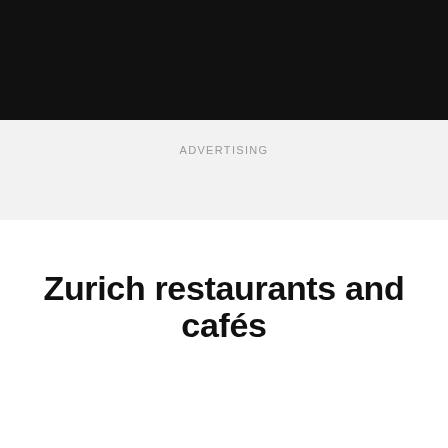[Figure (other): Black top navigation bar]
ADVERTISING
Zurich restaurants and cafés